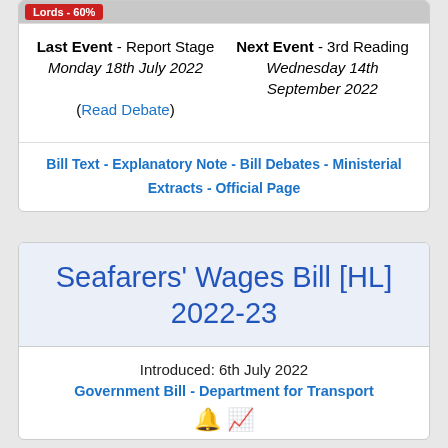Lords - 60%
Last Event - Report Stage
Monday 18th July 2022
(Read Debate)
Next Event - 3rd Reading
Wednesday 14th September 2022
Bill Text - Explanatory Note - Bill Debates - Ministerial Extracts - Official Page
Seafarers' Wages Bill [HL] 2022-23
Introduced: 6th July 2022
Government Bill - Department for Transport